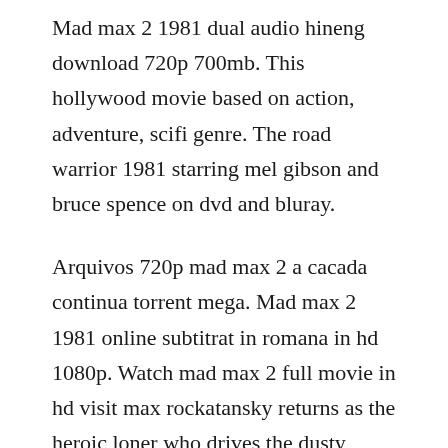Mad max 2 1981 dual audio hineng download 720p 700mb. This hollywood movie based on action, adventure, scifi genre. The road warrior 1981 starring mel gibson and bruce spence on dvd and bluray.
Arquivos 720p mad max 2 a cacada continua torrent mega. Mad max 2 1981 online subtitrat in romana in hd 1080p. Watch mad max 2 full movie in hd visit max rockatansky returns as the heroic loner who drives the dusty roads of a. Download mad max fury road 2015 full movie free video. Direct